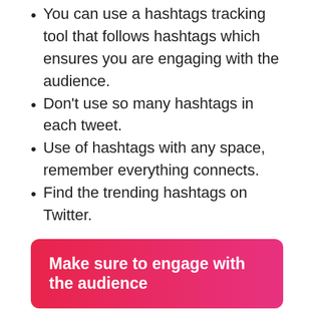You can use a hashtags tracking tool that follows hashtags which ensures you are engaging with the audience.
Don't use so many hashtags in each tweet.
Use of hashtags with any space, remember everything connects.
Find the trending hashtags on Twitter.
Make sure to engage with the audience
When you come to know how to use Twitter effectively, it's easy to find things like metrics and measurements. However, the